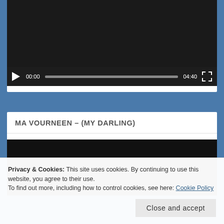[Figure (screenshot): Video player with black screen, play button, time 00:00, progress bar, duration 04:40, fullscreen button]
MA VOURNEEN – (MY DARLING)
[Figure (screenshot): Second video player with black screen, partially visible]
Privacy & Cookies: This site uses cookies. By continuing to use this website, you agree to their use.
To find out more, including how to control cookies, see here: Cookie Policy
Close and accept